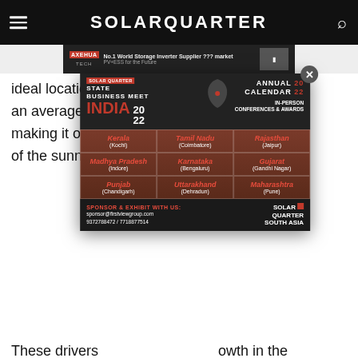SOLARQUARTER
[Figure (screenshot): Top banner advertisement for AXEHUA TECH storage inverter]
ideal locatio…untry gets an average of 2,500 hours of sunlight per year, making it one of the sunnies…
[Figure (screenshot): Solar Quarter State Business Meet India 2022 Annual Calendar – In-Person Conferences & Awards popup advertisement showing Kerala (Kochi), Tamil Nadu (Coimbatore), Rajasthan (Jaipur), Madhya Pradesh (Indore), Karnataka (Bengaluru), Gujarat (Gandhi Nagar), Punjab (Chandigarh), Uttarakhand (Dehradun), Maharashtra (Pune). Sponsor & Exhibit contact: sponsor@firstviewgroup.com 9372788472 / 7718877514]
These drivers…owth in the Saudi Arabian….
Also Read
Capacity i…ar
Conclusion
Advertisements